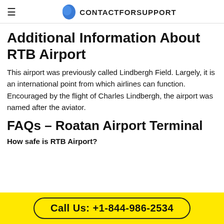CONTACTFORSUPPORT
Additional Information About RTB Airport
This airport was previously called Lindbergh Field. Largely, it is an international point from which airlines can function. Encouraged by the flight of Charles Lindbergh, the airport was named after the aviator.
FAQs – Roatan Airport Terminal
How safe is RTB Airport?
Call Us: +1-844-986-2534